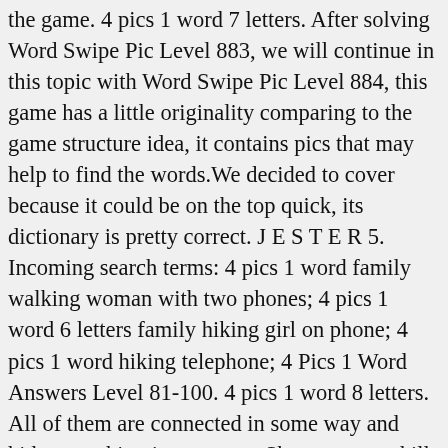the game. 4 pics 1 word 7 letters. After solving Word Swipe Pic Level 883, we will continue in this topic with Word Swipe Pic Level 884, this game has a little originality comparing to the game structure idea, it contains pics that may help to find the words.We decided to cover because it could be on the top quick, its dictionary is pretty correct. J E S T E R 5. Incoming search terms: 4 pics 1 word family walking woman with two phones; 4 pics 1 word 6 letters family hiking girl on phone; 4 pics 1 word hiking telephone; 4 Pics 1 Word Answers Level 81-100. 4 pics 1 word 8 letters. All of them are connected in some way and hide something in common. Sharpen your skills and improve your mental acuity as you try to solve what 1 word describes the common theme shared by 4 pictures. ... Word Puzzle Daily Answers — a game popular in social networks. Having trouble beating a level of 4 Pics 1 Word Levels, like dye? 4 Pics 1 Word Levels answers and cheats to level 81-100 of the popular